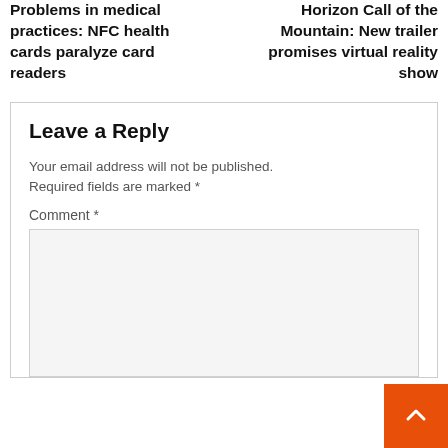Problems in medical practices: NFC health cards paralyze card readers
Horizon Call of the Mountain: New trailer promises virtual reality show
Leave a Reply
Your email address will not be published. Required fields are marked *
Comment *